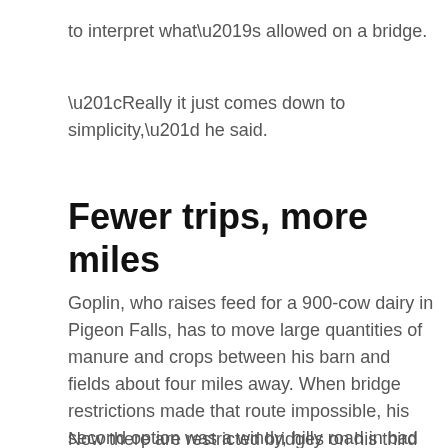to interpret what’s allowed on a bridge.
“Really it just comes down to simplicity,” he said.
Fewer trips, more miles
Goplin, who raises feed for a 900-cow dairy in Pigeon Falls, has to move large quantities of manure and crops between his barn and fields about four miles away. When bridge restrictions made that route impossible, his second option was a windy, hilly road in bad shape.
Now there are restricted bridges on his third and